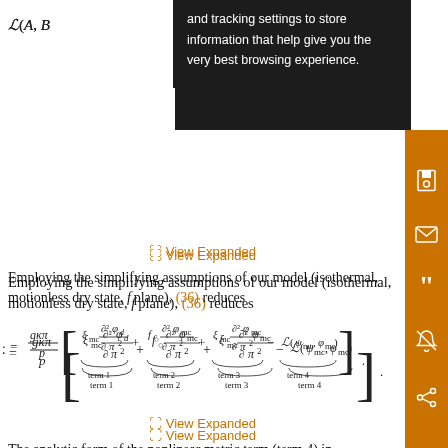[Figure (screenshot): Dark tooltip overlay with text: 'and tracking settings to store information that help give you the very best browsing experience.']
☐ View Expanded
Employing the simplifying assumptions of our model (isothermal, motionless dry state, f plane), (36) reduces
☐ View Expanded
The analytic form of the nonlinear metric term (term 4) in (37) is easily derived as
☐ View Expanded